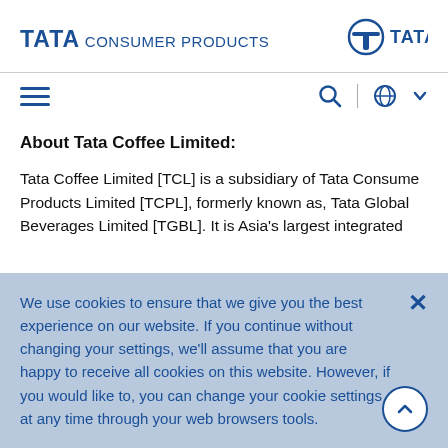TATA CONSUMER PRODUCTS | TATA
About Tata Coffee Limited:
Tata Coffee Limited [TCL] is a subsidiary of Tata Consumer Products Limited [TCPL], formerly known as, Tata Global Beverages Limited [TGBL]. It is Asia's largest integrated
We use cookies to ensure that we give you the best experience on our website. If you continue without changing your settings, we'll assume that you are happy to receive all cookies on this website. However, if you would like to, you can change your cookie settings at any time through your web browsers tools.